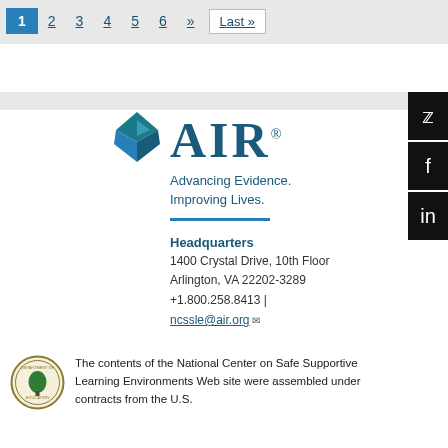1 2 3 4 5 6 » Last »
[Figure (logo): AIR (American Institutes for Research) logo with diamond/chevron icon and tagline: Advancing Evidence. Improving Lives.]
Headquarters
1400 Crystal Drive, 10th Floor
Arlington, VA 22202-3289
+1.800.258.8413 |
ncssle@air.org
[Figure (logo): U.S. Department of Education seal]
The contents of the National Center on Safe Supportive Learning Environments Web site were assembled under contracts from the U.S.